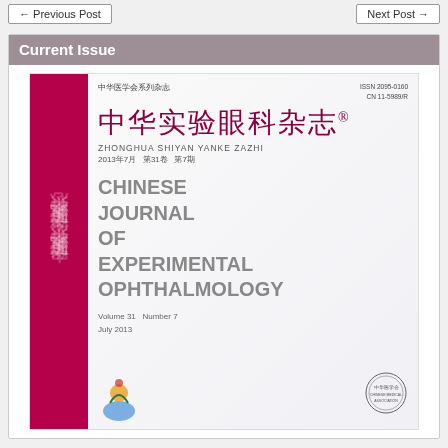← Previous Post    Next Post →
Current Issue
[Figure (photo): Cover of Chinese Journal of Experimental Ophthalmology, Volume 31, Number 7, July 2013. Shows the journal cover with Chinese title 中华实验眼科杂志, subtitle ZHONGHUA SHIYAN YANKE ZAZHI, English title CHINESE JOURNAL OF EXPERIMENTAL OPHTHALMOLOGY, with a magenta spine and publisher logos.]